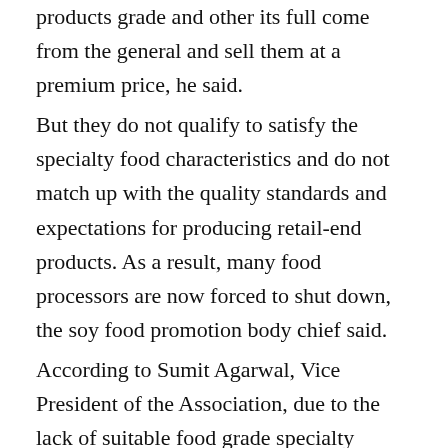products grade and other its full come from the general and sell them at a premium price, he said.
But they do not qualify to satisfy the specialty food characteristics and do not match up with the quality standards and expectations for producing retail-end products. As a result, many food processors are now forced to shut down, the soy food promotion body chief said.
According to Sumit Agarwal, Vice President of the Association, due to the lack of suitable food grade specialty soyabeans, food processors are constrained. “This is limiting the business opportunities, job creation, and revenue generation,” he said.
Taking into account the requirements of the consumers and food businesses, the association has appealed to the Prime Minister, Agarwal said.
The Soy Food Promotion and Welfare Association said that these soyabeans that need to be imported are non-genetically